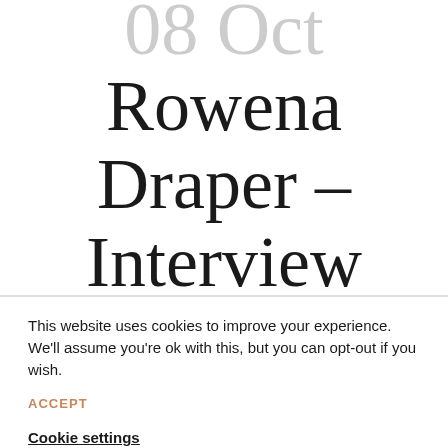08 Oct
Rowena Draper – Interview with the
This website uses cookies to improve your experience. We'll assume you're ok with this, but you can opt-out if you wish.
ACCEPT
Cookie settings